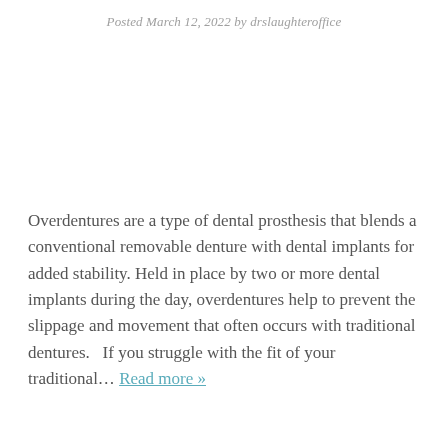Posted March 12, 2022 by drslaughteroffice
Overdentures are a type of dental prosthesis that blends a conventional removable denture with dental implants for added stability. Held in place by two or more dental implants during the day, overdentures help to prevent the slippage and movement that often occurs with traditional dentures.   If you struggle with the fit of your traditional… Read more »